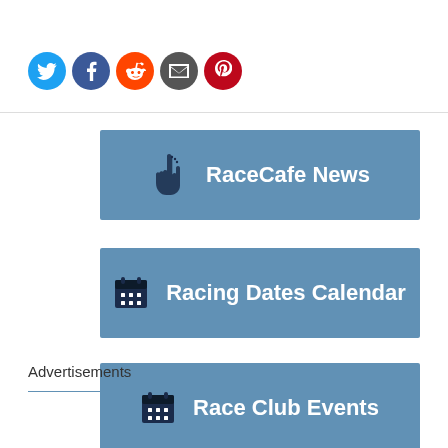[Figure (illustration): Row of five social media share icons: Twitter (blue), Facebook (dark blue), Reddit (orange), Email (dark gray), Pinterest (red), each as a circle with a white icon inside.]
RaceCafe News
Racing Dates Calendar
Race Club Events
Advertisements